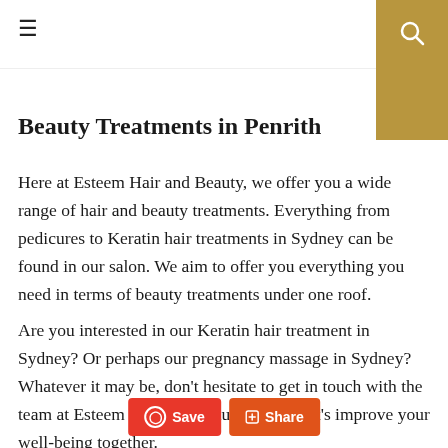☰  [search]
Beauty Treatments in Penrith
Here at Esteem Hair and Beauty, we offer you a wide range of hair and beauty treatments. Everything from pedicures to Keratin hair treatments in Sydney can be found in our salon. We aim to offer you everything you need in terms of beauty treatments under one roof.
Are you interested in our Keratin hair treatment in Sydney? Or perhaps our pregnancy massage in Sydney? Whatever it may be, don't hesitate to get in touch with the team at Esteem Hair and Beauty today! Let's improve your well-being together.
Save  Share